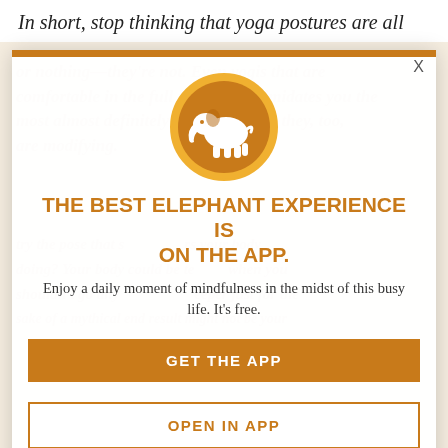In short, stop thinking that yoga postures are all
or nothing—they're not. Even yogis that are comfortable in the full pose that intimidates you the most almost definitely had days when they, too, are modifying.
[Figure (logo): Circular orange logo with white elephant silhouette]
THE BEST ELEPHANT EXPERIENCE IS ON THE APP.
Enjoy a daily moment of mindfulness in the midst of this busy life. It's free.
GET THE APP
OPEN IN APP